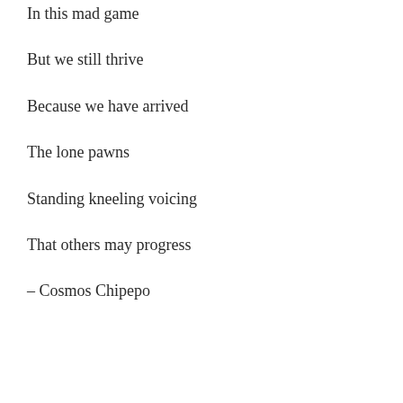In this mad game
But we still thrive
Because we have arrived
The lone pawns
Standing kneeling voicing
That others may progress
– Cosmos Chipepo